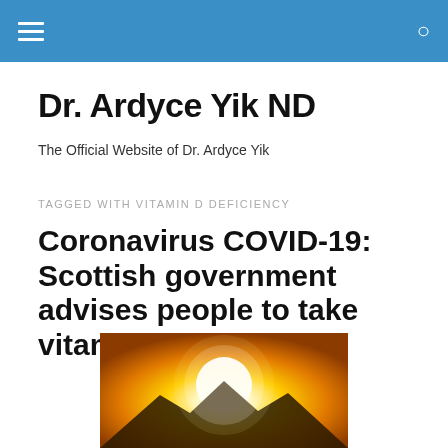Dr. Ardyce Yik ND
The Official Website of Dr. Ardyce Yik
TAGGED WITH VITAMIN D DEFICIENCY
Coronavirus COVID-19: Scottish government advises people to take vitamin D
[Figure (photo): Bright sun shining over a mountain silhouette with orange and golden sky, representing sunlight and vitamin D]